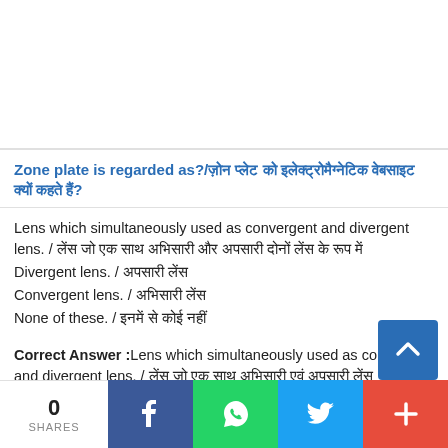Zone plate is regarded as?/जोन प्लेट को इलेक्ट्रोमैग्नेटिक वेबसाइट क्यों कहते हैं?
Lens which simultaneously used as convergent and divergent lens. / लेंस जो एक साथ अभिसारी और अपसारी दोनों लेंस के रूप में
Divergent lens. / अपसारी लेंस
Convergent lens. / अभिसारी लेंस
None of these. / इनमें से कोई नहीं
Correct Answer :Lens which simultaneously used as convergent and divergent lens. / लेंस जो एक साथ अभिसारी एवं अपसारी लेंस